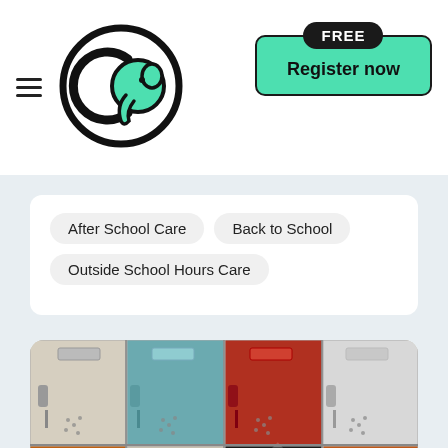[Figure (logo): Circular logo with letter C and elephant shape in mint green and black]
[Figure (other): Register now button with FREE badge in mint green and black]
After School Care
Back to School
Outside School Hours Care
[Figure (photo): Colorful school lockers in rows — beige, teal, red, white on top row; orange, beige, dark, orange on bottom row]